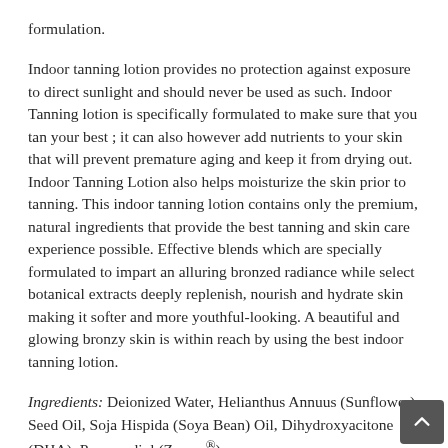formulation.
Indoor tanning lotion provides no protection against exposure to direct sunlight and should never be used as such. Indoor Tanning lotion is specifically formulated to make sure that you tan your best ; it can also however add nutrients to your skin that will prevent premature aging and keep it from drying out. Indoor Tanning Lotion also helps moisturize the skin prior to tanning. This indoor tanning lotion contains only the premium, natural ingredients that provide the best tanning and skin care experience possible. Effective blends which are specially formulated to impart an alluring bronzed radiance while select botanical extracts deeply replenish, nourish and hydrate skin making it softer and more youthful-looking. A beautiful and glowing bronzy skin is within reach by using the best indoor tanning lotion.
Ingredients: Deionized Water, Helianthus Annuus (Sunflower) Seed Oil, Soja Hispida (Soya Bean) Oil, Dihydroxyacitone (DHA), Propanediol (Zemea®), Capryllic (Capric Triglyceride), Beta...